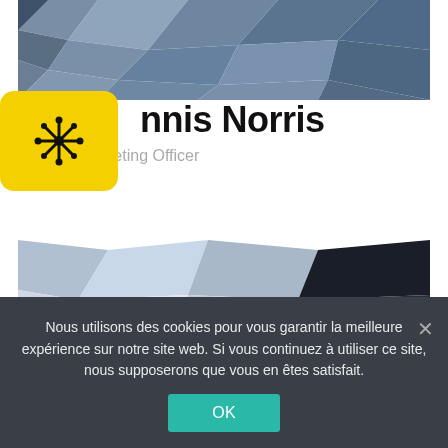[Figure (illustration): Top polygon/mosaic abstract background image in blue-grey tones]
[Figure (logo): Yellow rounded square badge with black asterisk/snowflake-like icon]
nnis Norris
Chief Marketing Officer
[Figure (illustration): Bottom polygon/mosaic abstract background image in blue-grey and light tones]
Nous utilisons des cookies pour vous garantir la meilleure expérience sur notre site web. Si vous continuez à utiliser ce site, nous supposerons que vous en êtes satisfait.
OK